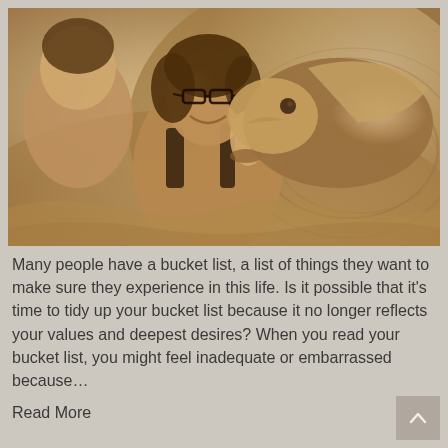[Figure (photo): Sepia-toned photograph of a smiling woman wearing glasses and a black top, posed cheek-to-cheek with a dolphin in water. Another person is partially visible on the left.]
Many people have a bucket list, a list of things they want to make sure they experience in this life. Is it possible that it’s time to tidy up your bucket list because it no longer reflects your values and deepest desires? When you read your bucket list, you might feel inadequate or embarrassed because…
Read More